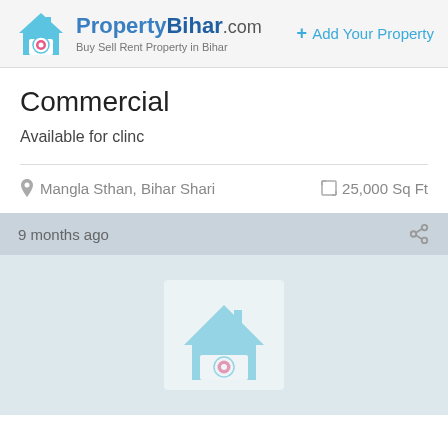PropertyBihar.com — Buy Sell Rent Property in Bihar | + Add Your Property
Commercial
Available for clinc
Mangla Sthan, Bihar Shari   25,000 Sq Ft
9 months ago
[Figure (logo): PropertyBihar.com logo with house/location pin icon, repeated as watermark in light blue image area at bottom]